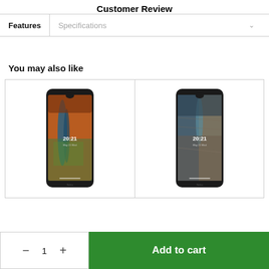Customer Review
Features
Specifications
You may also like
[Figure (photo): Two Nokia smartphones shown side by side in product cards. Left phone shows a warm-toned aerial river landscape wallpaper with '20:21' on screen. Right phone shows a cool-toned rocky waterfall wallpaper with '20:21' on screen.]
− 1 +
Add to cart